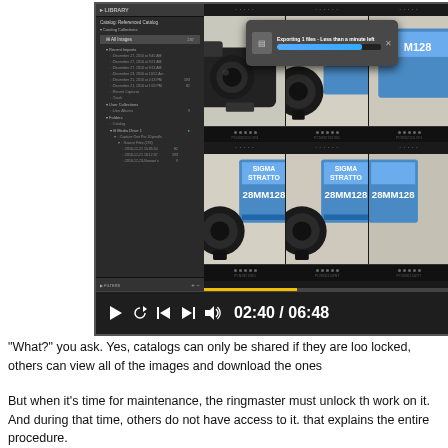[Figure (screenshot): Screenshot of a photo management software (Capture One or similar) showing a library catalog panel on the left with folder hierarchy, and a grid of product photos on the right showing cameras and lenses with blue product boxes. A modal dialog shows 'Exporting 1 files - Less than a minute left' with a progress bar. A video playback bar at the bottom shows playback controls and timestamp 02:40 / 06:48.]
"What?" you ask. Yes, catalogs can only be shared if they are loo locked, others can view all of the images and download the ones
But when it's time for maintenance, the ringmaster must unlock th work on it. And during that time, others do not have access to it. that explains the entire procedure.